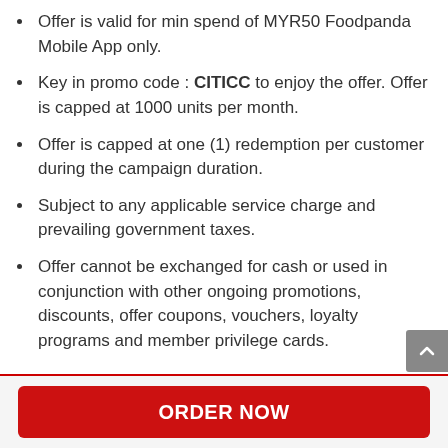Offer is valid for min spend of MYR50 Foodpanda Mobile App only.
Key in promo code : CITICC to enjoy the offer. Offer is capped at 1000 units per month.
Offer is capped at one (1) redemption per customer during the campaign duration.
Subject to any applicable service charge and prevailing government taxes.
Offer cannot be exchanged for cash or used in conjunction with other ongoing promotions, discounts, offer coupons, vouchers, loyalty programs and member privilege cards.
ORDER NOW